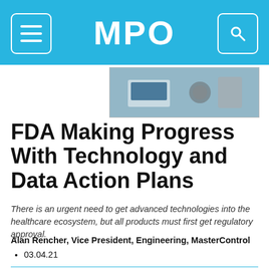MPO
[Figure (photo): Thumbnail image of medical/technology equipment on a desk]
FDA Making Progress With Technology and Data Action Plans
There is an urgent need to get advanced technologies into the healthcare ecosystem, but all products must first get regulatory approval.
Alan Rencher, Vice President, Engineering, MasterControl
03.04.21
[Figure (logo): Sponsored by Porex Filtration Group and Aline advertisement banner]